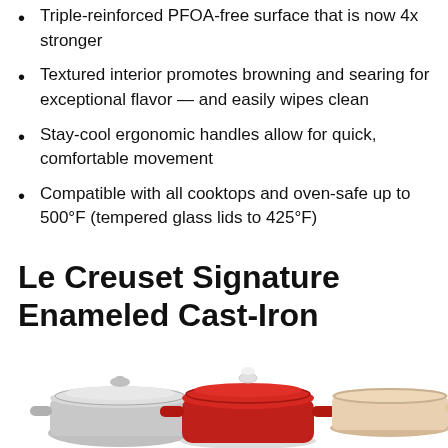Triple-reinforced PFOA-free surface that is now 4x stronger
Textured interior promotes browning and searing for exceptional flavor — and easily wipes clean
Stay-cool ergonomic handles allow for quick, comfortable movement
Compatible with all cooktops and oven-safe up to 500°F (tempered glass lids to 425°F)
Le Creuset Signature Enameled Cast-Iron Cookware Set, 10-Piece, Cerise
[Figure (photo): Le Creuset red enameled cast-iron cookware set including dutch oven with lid, skillet, and other pieces in Cerise (red) color]